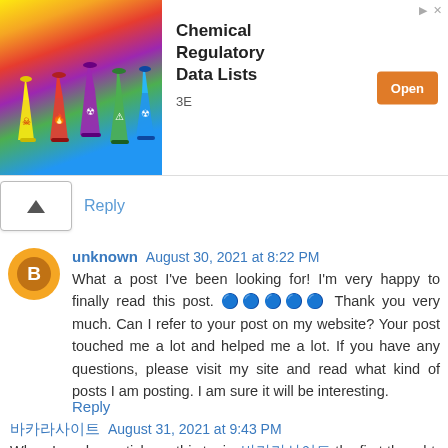[Figure (infographic): Advertisement banner for Chemical Regulatory Data Lists by 3E, showing colorful chemical flasks on the left, bold title text in center, and an orange Open button.]
Reply
unknown  August 30, 2021 at 8:22 PM
What a post I've been looking for! I'm very happy to finally read this post. 🔵🔵🔵🔵🔵 Thank you very much. Can I refer to your post on my website? Your post touched me a lot and helped me a lot. If you have any questions, please visit my site and read what kind of posts I am posting. I am sure it will be interesting.
Reply
바카라사이트  August 31, 2021 at 9:43 PM
When I read an article on this topic, 바카라사이트 the first thought